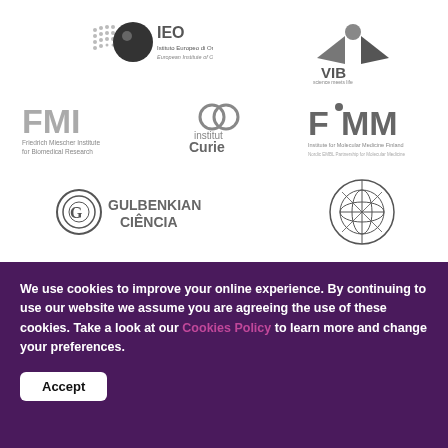[Figure (logo): IEO Istituto Europeo di Oncologia — European Institute of Oncology logo]
[Figure (logo): VIB — science meets life logo]
[Figure (logo): FMI Friedrich Miescher Institute for Biomedical Research logo]
[Figure (logo): Institut Curie logo]
[Figure (logo): FIMM Institute for Molecular Medicine Finland — Nordic EMBL Partnership for Molecular Medicine logo]
[Figure (logo): Gulbenkian Ciência logo]
[Figure (logo): International Institute of Molecular and Cell Biology in Warsaw logo]
We use cookies to improve your online experience. By continuing to use our website we assume you are agreeing the use of these cookies. Take a look at our Cookies Policy to learn more and change your preferences.
Accept